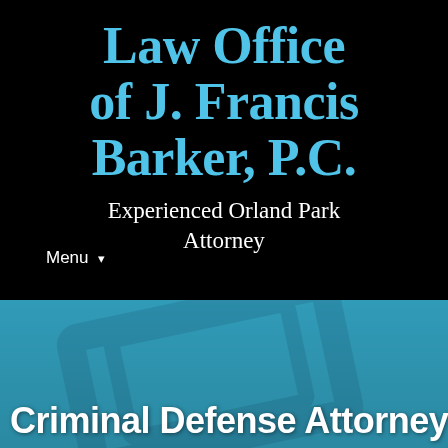Law Office of J. Francis Barker, P.C.
Experienced Orland Park Attorney
Menu ▾
Criminal Defense Attorney